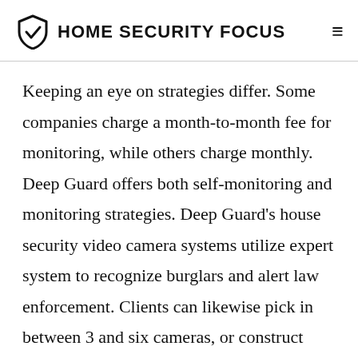HOME SECURITY FOCUS
Keeping an eye on strategies differ. Some companies charge a month-to-month fee for monitoring, while others charge monthly. Deep Guard offers both self-monitoring and monitoring strategies. Deep Guard's house security video camera systems utilize expert system to recognize burglars and alert law enforcement. Clients can likewise pick in between 3 and six cameras, or construct their own custom-made mix of video cameras. While it's not obligatory to purchase a monitoring plan, Deep Sentinel's